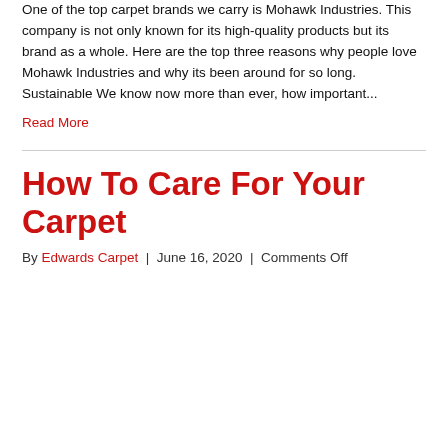One of the top carpet brands we carry is Mohawk Industries. This company is not only known for its high-quality products but its brand as a whole. Here are the top three reasons why people love Mohawk Industries and why its been around for so long. Sustainable We know now more than ever, how important...
Read More
How To Care For Your Carpet
By Edwards Carpet | June 16, 2020 | Comments Off